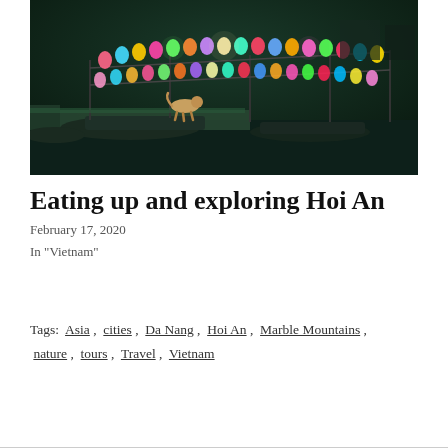[Figure (photo): Night scene of colorful lantern-decorated boats at a waterfront in Hoi An, Vietnam. A dog walks along the dock with boats adorned with multicolored heart-shaped lanterns reflected on the water.]
Eating up and exploring Hoi An
February 17, 2020
In "Vietnam"
Tags: Asia , cities , Da Nang , Hoi An , Marble Mountains , nature , tours , Travel , Vietnam